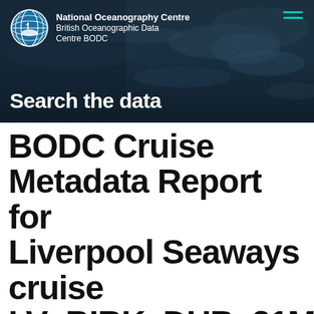[Figure (screenshot): BODC website header with ocean wave background, National Oceanography Centre / British Oceanographic Data Centre BODC logo with globe icon, hamburger menu icon in teal, and 'Search the data' heading in white bold text]
BODC Cruise Metadata Report for Liverpool Seaways cruise LV_BIRK_DUB_21Mar2...